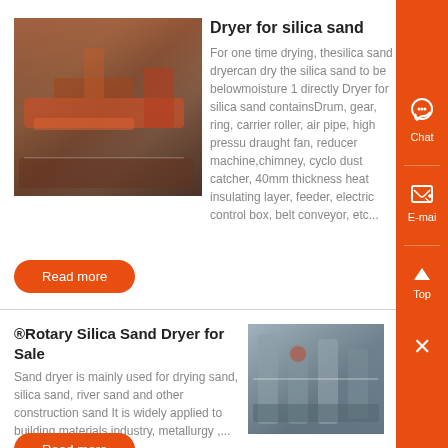[Figure (photo): Industrial silica sand dryer machine equipment at a site, red machinery visible]
Dryer for silica sand
For one time drying, thesilica sand dryercan dry the silica sand to be belowmoisture 1 directly Dryer for silica sand containsDrum, gear, ring, carrier roller, air pipe, high pressu draught fan, reducer machine,chimney, cyclo dust catcher, 40mm thickness heat insulating layer, feeder, electric control box, belt conveyor, etc...
Read more
®Rotary Silica Sand Dryer for Sale
Sand dryer is mainly used for drying sand, silica sand, river sand and other construction sand It is widely applied to building materials industry, metallurgy ,...
Read more
[Figure (photo): Industrial rotary sand dryer facility interior with pipes and equipment]